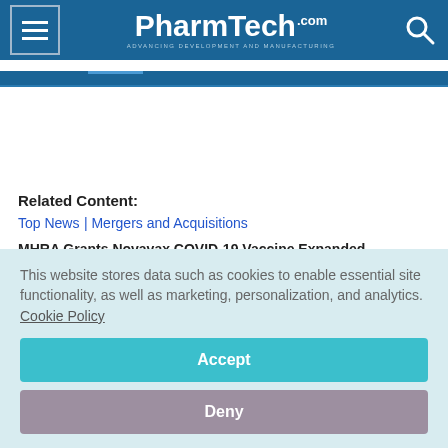PharmTech.com — Advancing Development and Manufacturing
Related Content:
Top News | Mergers and Acquisitions
MHRA Grants Novavax COVID-19 Vaccine Expanded Conditional Marketing Authorization
This website stores data such as cookies to enable essential site functionality, as well as marketing, personalization, and analytics. Cookie Policy
Accept
Deny